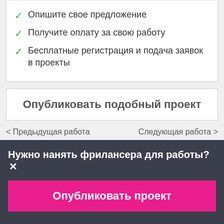Опишите свое предложение
Получите оплату за свою работу
Бесплатные регистрация и подача заявок в проекты
Опубликовать подобный проект
< Предыдущая работа
Следующая работа >
Нужно нанять фрилансера для работы?✕
Опубликовать проект